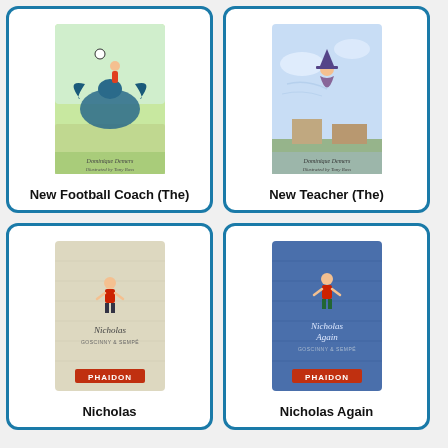[Figure (illustration): Book cover of 'New Football Coach (The)' showing a child playing football with a dragon, illustrated style]
New Football Coach (The)
[Figure (illustration): Book cover of 'New Teacher (The)' showing a flying figure, illustrated style]
New Teacher (The)
[Figure (illustration): Book cover of 'Nicholas' - beige/cream hardcover with small figure and Phaidon publisher logo]
Nicholas
[Figure (illustration): Book cover of 'Nicholas Again' - blue hardcover with small figure and Phaidon publisher logo]
Nicholas Again